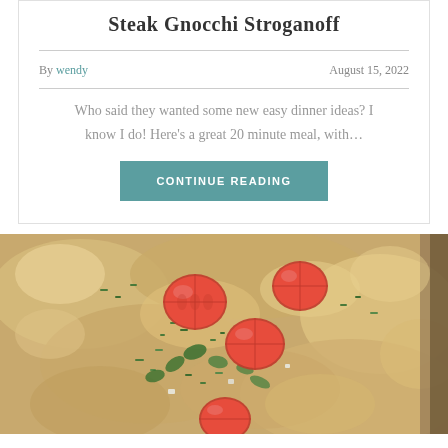Steak Gnocchi Stroganoff
By wendy   August 15, 2022
Who said they wanted some new easy dinner ideas? I know I do! Here's a great 20 minute meal, with…
CONTINUE READING
[Figure (photo): Close-up photo of a baked casserole dish topped with halved cherry tomatoes, chopped green onions, and fresh herbs over a creamy gnocchi base.]